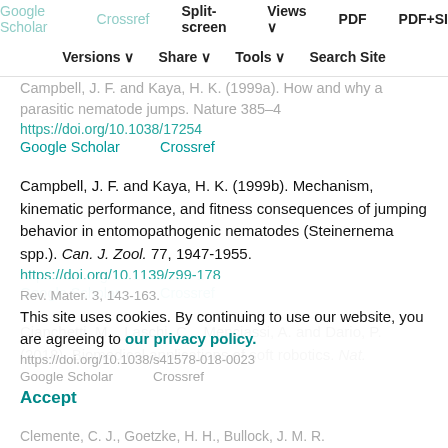Google Scholar   Crossref   Split-screen   Views   PDF   PDF+SI
Versions   Share   Tools   Search Site
Campbell, J. F. and Kaya, H. K. (1999a). How and why a parasitic nematode jumps. Nature 385–4... https://doi.org/10.1038/17254
Google Scholar   Crossref
Campbell, J. F. and Kaya, H. K. (1999b). Mechanism, kinematic performance, and fitness consequences of jumping behavior in entomopathogenic nematodes (Steinernema spp.). Can. J. Zool. 77, 1947-1955. https://doi.org/10.1139/z99-178
Google Scholar   Crossref
Cianchetti, M. , Laschi, C. , Menciassi, A. and Dario, P. (2018). Biomedical applications of soft robotics. Nat. Rev. Mater. 3, 143-163. https://doi.org/10.1038/s41578-018-0023-3
Google Scholar   Crossref
This site uses cookies. By continuing to use our website, you are agreeing to our privacy policy. Accept
Clemente, C. J., Goetzke, H. H., Bullock, J. M. R.